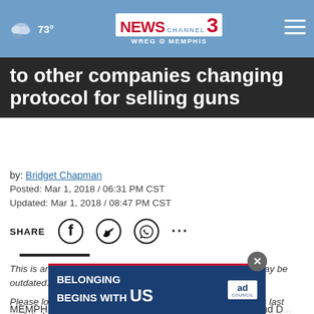NEWS CHANNEL 3 WREG MEMPHIS | 73°
to other companies changing protocol for selling guns
by: Bridget Chapman
Posted: Mar 1, 2018 / 06:31 PM CST
Updated: Mar 1, 2018 / 08:47 PM CST
SHARE [Facebook] [Twitter] [WhatsApp] [...]
This is an archived article and the information in the article may be outdated. Please look at the time stamp on the story to see when it was last updated.
MEMPHIS, Tenn. — Monster companies, like Walmart and D[...] protocol for selling guns after the mass school shootings we've...
[Figure (advertisement): BELONGING BEGINS WITH US ad council advertisement banner overlay]